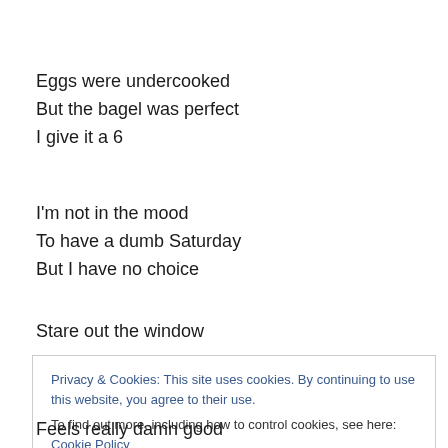Eggs were undercooked
But the bagel was perfect
I give it a 6
I'm not in the mood
To have a dumb Saturday
But I have no choice
Stare out the window
Privacy & Cookies: This site uses cookies. By continuing to use this website, you agree to their use.
To find out more, including how to control cookies, see here: Cookie Policy
Close and accept
Feels really damn good